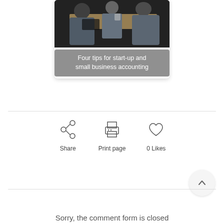[Figure (photo): Photo of people sitting at a table in a business/office meeting setting, viewed from above and side angle. Dark background.]
Four tips for start-up and small business accounting
Share
Print page
0 Likes
Sorry, the comment form is closed